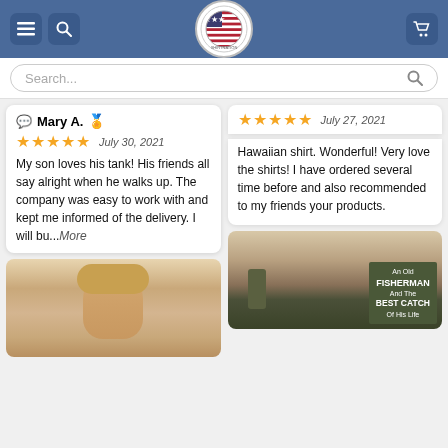Shirtnation website header with navigation buttons and logo
Search...
Mary A. ★★★★★ July 30, 2021
My son loves his tank! His friends all say alright when he walks up. The company was easy to work with and kept me informed of the delivery. I will bu...More
★★★★★ July 27, 2021
Hawaiian shirt. Wonderful! Very love the shirts! I have ordered several time before and also recommended to my friends your products.
[Figure (photo): Photo of a woman with blonde hair looking up]
[Figure (photo): Image of an An Old Fisherman And The Best Catch Of His Life product on tiled floor]